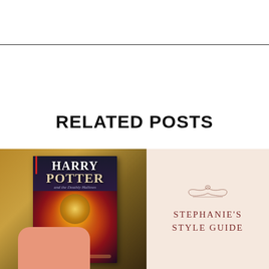RELATED POSTS
[Figure (photo): A hand holding a copy of Harry Potter and the Deathly Hallows book against a warm brown background]
[Figure (logo): Stephanie's Style Guide logo with decorative ornament on a pale pink/peach background]